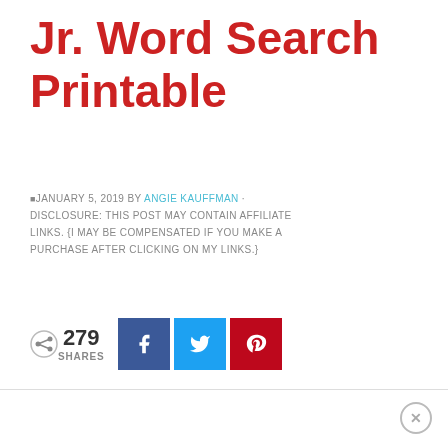Jr. Word Search Printable
JANUARY 5, 2019 BY ANGIE KAUFFMAN · DISCLOSURE: THIS POST MAY CONTAIN AFFILIATE LINKS. {I MAY BE COMPENSATED IF YOU MAKE A PURCHASE AFTER CLICKING ON MY LINKS.}
[Figure (infographic): Social share bar with 279 shares count, Facebook, Twitter, and Pinterest share buttons]